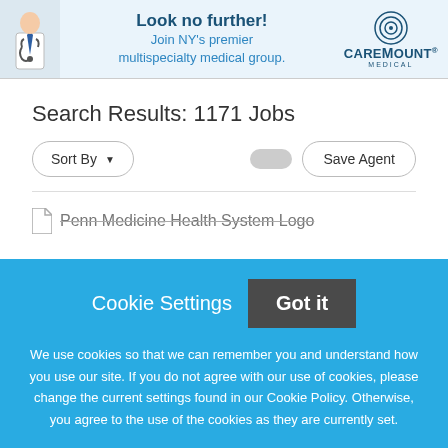[Figure (photo): CareMount Medical banner advertisement: doctor with stethoscope icon on left, text 'Look no further! Join NY's premier multispecialty medical group.' in center, CareMount Medical logo with concentric circles on right]
Search Results: 1171 Jobs
Sort By ▼
Save Agent
[Figure (logo): Penn Medicine Health System Logo (partially visible, struck through)]
Cookie Settings   Got it
We use cookies so that we can remember you and understand how you use our site. If you do not agree with our use of cookies, please change the current settings found in our Cookie Policy. Otherwise, you agree to the use of the cookies as they are currently set.